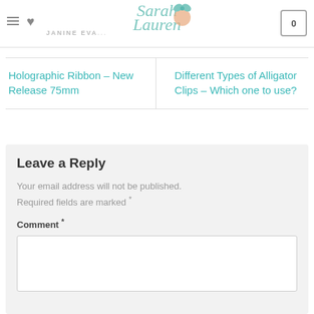Sarah Lauren — JANINE EVA... [header with navigation icons and cart]
Holographic Ribbon – New Release 75mm
Different Types of Alligator Clips – Which one to use?
Leave a Reply
Your email address will not be published. Required fields are marked *
Comment *